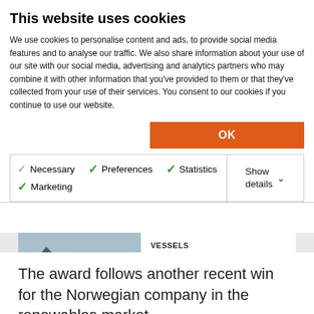This website uses cookies
We use cookies to personalise content and ads, to provide social media features and to analyse our traffic. We also share information about your use of our site with our social media, advertising and analytics partners who may combine it with other information that you've provided to them or that they've collected from your use of their services. You consent to our cookies if you continue to use our website.
OK
Necessary  Preferences  Statistics  Marketing  Show details
[Figure (photo): Orange supply vessel/offshore ship on water with mountains in background]
VESSELS
Siem vessel gets GE Renewable Energy job
about 1 year ago
The award follows another recent win for the Norwegian company in the renewables market.